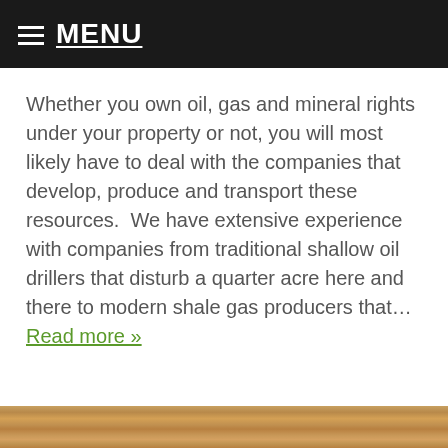MENU
Whether you own oil, gas and mineral rights under your property or not, you will most likely have to deal with the companies that develop, produce and transport these resources.  We have extensive experience with companies from traditional shallow oil drillers that disturb a quarter acre here and there to modern shale gas producers that… Read more »
© 2022 Edward S. Kocjancic, Inc. | Kane PA 16735 (USA) | P (814) 837-8488 | F (814) 837-9270
login